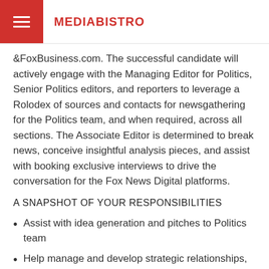MEDIABISTRO
&FoxBusiness.com. The successful candidate will actively engage with the Managing Editor for Politics, Senior Politics editors, and reporters to leverage a Rolodex of sources and contacts for newsgathering for the Politics team, and when required, across all sections. The Associate Editor is determined to break news, conceive insightful analysis pieces, and assist with booking exclusive interviews to drive the conversation for the Fox News Digital platforms.
A SNAPSHOT OF YOUR RESPONSIBILITIES
Assist with idea generation and pitches to Politics team
Help manage and develop strategic relationships, and work directly with the Political Editorial leadership and when necessary, all teams across Fox News Digital operation on newsgathering and story